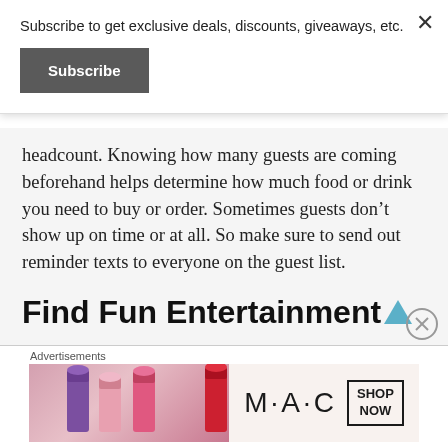Subscribe to get exclusive deals, discounts, giveaways, etc.
Subscribe
headcount. Knowing how many guests are coming beforehand helps determine how much food or drink you need to buy or order. Sometimes guests don’t show up on time or at all. So make sure to send out reminder texts to everyone on the guest list.
Find Fun Entertainment
No one’s going to want to sit around the entire time, so plan for fun activities
Advertisements
[Figure (other): MAC cosmetics advertisement banner showing lipstick products with MAC logo and SHOP NOW button]